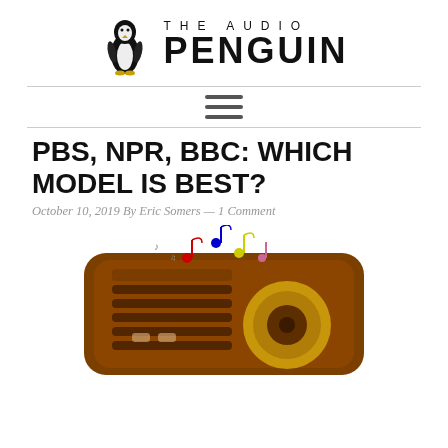[Figure (logo): The Audio Penguin logo with a penguin illustration and large bold text]
[Figure (illustration): A vintage brown radio with colorful musical notes floating above it]
PBS, NPR, BBC: WHICH MODEL IS BEST?
October 10, 2019 By Eric Somers — 1 Comment